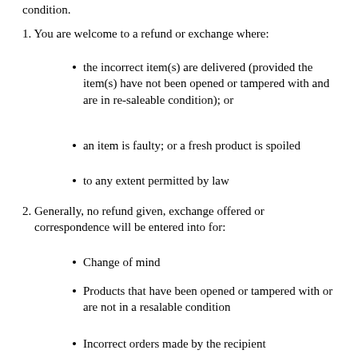condition.
1. You are welcome to a refund or exchange where:
the incorrect item(s) are delivered (provided the item(s) have not been opened or tampered with and are in re-saleable condition); or
an item is faulty; or a fresh product is spoiled
to any extent permitted by law
2. Generally, no refund given, exchange offered or correspondence will be entered into for:
Change of mind
Products that have been opened or tampered with or are not in a resalable condition
Incorrect orders made by the recipient